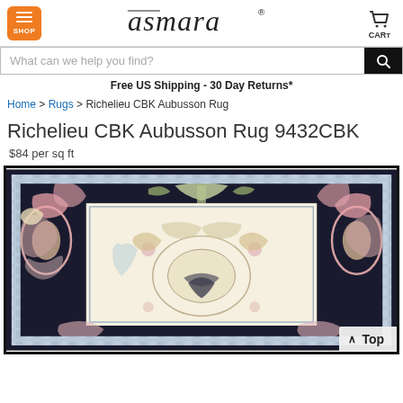[Figure (logo): Asmara logo with orange SHOP menu button and cart icon]
What can we help you find?
Free US Shipping - 30 Day Returns*
Home > Rugs > Richelieu CBK Aubusson Rug
Richelieu CBK Aubusson Rug 9432CBK
$84 per sq ft
[Figure (photo): Ornate Aubusson rug with dark navy/black border featuring pink and cream floral scrollwork, central cream medallion field with floral motifs]